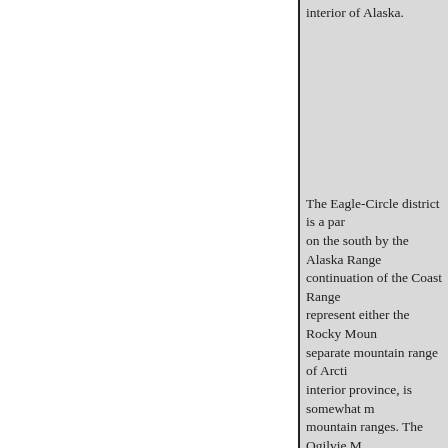interior of Alaska.
The Eagle-Circle district is a par on the south by the Alaska Range continuation of the Coast Range represent either the Rocky Moun separate mountain range of Arcti interior province, is somewhat m mountain ranges. The Ogilvie M are apparently an integral part of northwest into Alaska. Similarly, example, the Keele Mountains, j groups between the Yukon and T exact physiographic and structur Range represents the Rocky Mou interior province corresponds are Great Basin province of the Wes mountains, the interior province Range. Under either interpretatio Cordilleran Great Range...